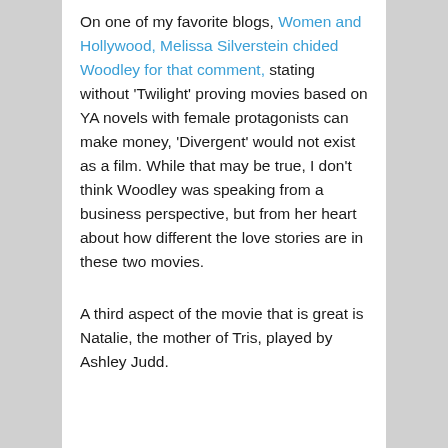On one of my favorite blogs, Women and Hollywood, Melissa Silverstein chided Woodley for that comment, stating without 'Twilight' proving movies based on YA novels with female protagonists can make money, 'Divergent' would not exist as a film. While that may be true, I don't think Woodley was speaking from a business perspective, but from her heart about how different the love stories are in these two movies.
A third aspect of the movie that is great is Natalie, the mother of Tris, played by Ashley Judd.